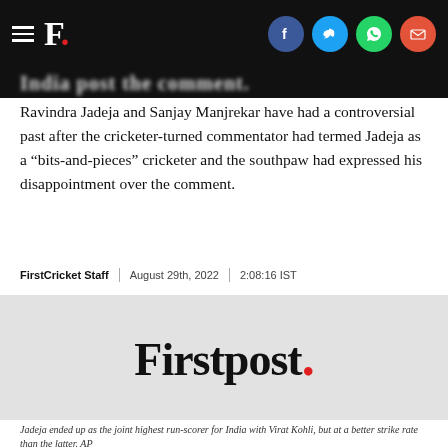F. [social icons: facebook, twitter, whatsapp, email]
Ravindra Jadeja and Sanjay Manjrekar have had a controversial past after the cricketer-turned commentator had termed Jadeja as a “bits-and-pieces” cricketer and the southpaw had expressed his disappointment over the comment.
FirstCricket Staff | August 29th, 2022 | 2:08:16 IST
[Figure (logo): Firstpost logo on grey background with red dot after the word]
Jadeja ended up as the joint highest run-scorer for India with Virat Kohli, but at a better strike rate than the latter. AP